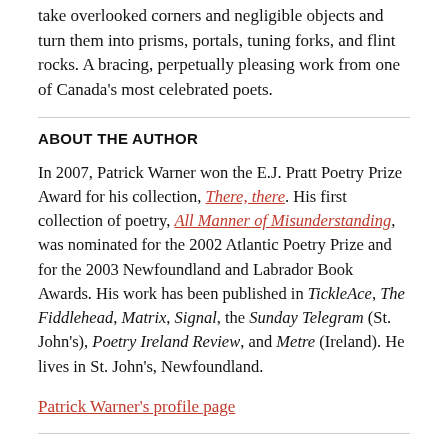take overlooked corners and negligible objects and turn them into prisms, portals, tuning forks, and flint rocks. A bracing, perpetually pleasing work from one of Canada's most celebrated poets.
ABOUT THE AUTHOR
In 2007, Patrick Warner won the E.J. Pratt Poetry Prize Award for his collection, There, there. His first collection of poetry, All Manner of Misunderstanding, was nominated for the 2002 Atlantic Poetry Prize and for the 2003 Newfoundland and Labrador Book Awards. His work has been published in TickleAce, The Fiddlehead, Matrix, Signal, the Sunday Telegram (St. John's), Poetry Ireland Review, and Metre (Ireland). He lives in St. John's, Newfoundland.
Patrick Warner's profile page